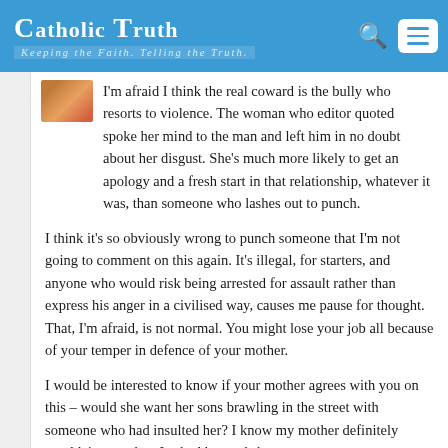Catholic Truth — Keeping the Faith. Telling the Truth.
I'm afraid I think the real coward is the bully who resorts to violence. The woman who editor quoted spoke her mind to the man and left him in no doubt about her disgust. She's much more likely to get an apology and a fresh start in that relationship, whatever it was, than someone who lashes out to punch.
I think it's so obviously wrong to punch someone that I'm not going to comment on this again. It's illegal, for starters, and anyone who would risk being arrested for assault rather than express his anger in a civilised way, causes me pause for thought. That, I'm afraid, is not normal. You might lose your job all because of your temper in defence of your mother.
I would be interested to know if your mother agrees with you on this – would she want her sons brawling in the street with someone who had insulted her? I know my mother definitely wouldn't want that. I asked her and she